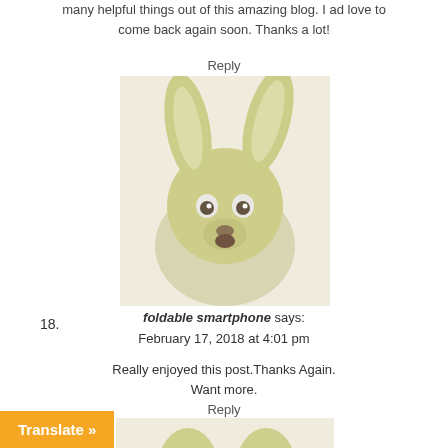many helpful things out of this amazing blog. I ad love to come back again soon. Thanks a lot!
Reply
[Figure (photo): A blurry photo of a small animal (possibly a toy or stuffed animal) with large ears, resembling a kangaroo or fennec fox, with a greenish-yellow tint, facing forward with wide eyes and open mouth.]
18.
foldable smartphone says: February 17, 2018 at 4:01 pm
Really enjoyed this post.Thanks Again. Want more.
Reply
[Figure (photo): Bottom portion of a similar blurry animal photo, partially cropped, showing the top of the animal's head/ears with the same greenish-yellow tint.]
Translate »